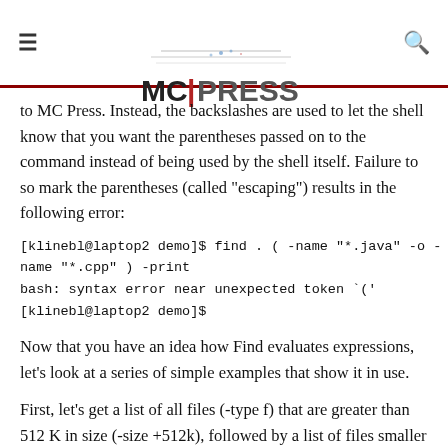MC PRESS
to MC Press. Instead, the backslashes are used to let the shell know that you want the parentheses passed on to the command instead of being used by the shell itself. Failure to so mark the parentheses (called "escaping") results in the following error:
[klinebl@laptop2 demo]$ find . ( -name "*.java" -o -name "*.cpp" ) -print
bash: syntax error near unexpected token `('
[klinebl@laptop2 demo]$
Now that you have an idea how Find evaluates expressions, let's look at a series of simple examples that show it in use.
First, let's get a list of all files (-type f) that are greater than 512 K in size (-size +512k), followed by a list of files smaller than